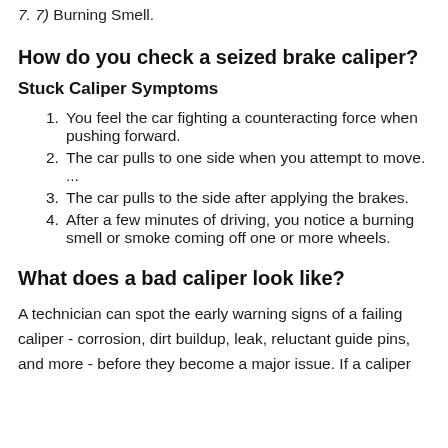7. 7) Burning Smell.
How do you check a seized brake caliper?
Stuck Caliper Symptoms
1. You feel the car fighting a counteracting force when pushing forward.
2. The car pulls to one side when you attempt to move. ...
3. The car pulls to the side after applying the brakes.
4. After a few minutes of driving, you notice a burning smell or smoke coming off one or more wheels.
What does a bad caliper look like?
A technician can spot the early warning signs of a failing caliper - corrosion, dirt buildup, leak, reluctant guide pins, and more - before they become a major issue. If a caliper